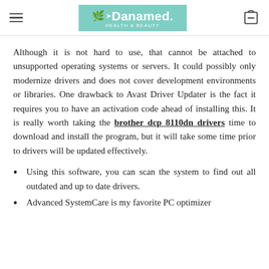Danamed. Health & Beauty
Although it is not hard to use, that cannot be attached to unsupported operating systems or servers. It could possibly only modernize drivers and does not cover development environments or libraries. One drawback to Avast Driver Updater is the fact it requires you to have an activation code ahead of installing this. It is really worth taking the brother dcp 8110dn drivers time to download and install the program, but it will take some time prior to drivers will be updated effectively.
Using this software, you can scan the system to find out all outdated and up to date drivers.
Advanced SystemCare is my favorite PC optimizer